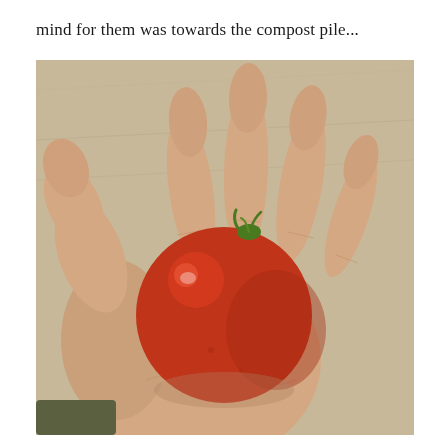mind for them was towards the compost pile...
[Figure (photo): A hand with open palm holding a single red tomato against a neutral beige/tan background. The hand is photographed from below, fingers spread upward, cradling the round red tomato in the palm.]